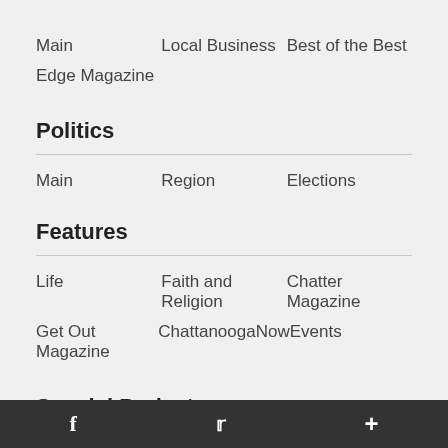Main   Local Business   Best of the Best
Edge Magazine
Politics
Main   Region   Elections
Features
Life   Faith and Religion   Chatter Magazine
Get Out Magazine   ChattanoogaNow   Events
Special Projects
f  [twitter]  +